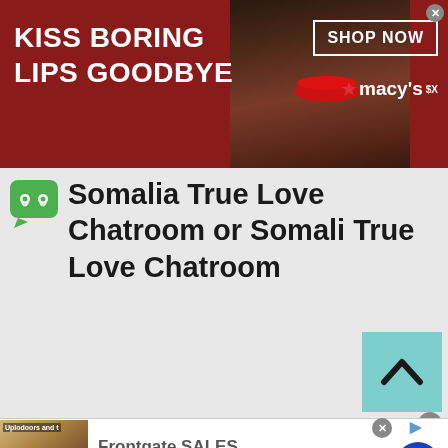[Figure (photo): Top banner advertisement for Macy's with red background, woman with red lips, text reading KISS BORING LIPS GOODBYE and SHOP NOW button with Macys star logo]
Somalia True Love Chatroom or Somali True Love Chatroom
[Figure (other): Scroll-to-top button with light blue/cyan background and upward chevron arrow]
[Figure (photo): Bottom advertisement for Frontgate SALES showing outdoor furniture, text: Frontgate SALES, up to 50% off, frontgate.com]